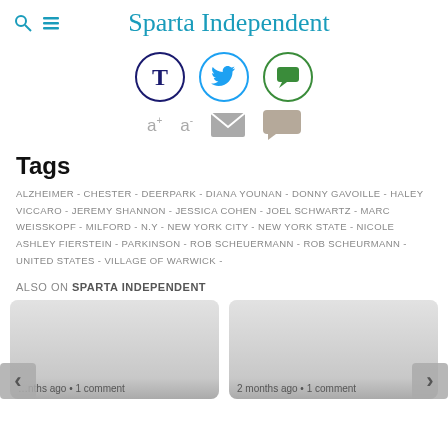Sparta Independent
[Figure (illustration): Social sharing icons: T (Tumblr), Twitter bird, speech bubble (comment), plus font resize (a+ a-), email envelope, and comment icon]
Tags
ALZHEIMER - CHESTER - DEERPARK - DIANA YOUNAN - DONNY GAVOILLE - HALEY VICCARO - JEREMY SHANNON - JESSICA COHEN - JOEL SCHWARTZ - MARC WEISSKOPF - MILFORD - N.Y - NEW YORK CITY - NEW YORK STATE - NICOLE ASHLEY FIERSTEIN - PARKINSON - ROB SCHEUERMANN - ROB SCHEURMANN - UNITED STATES - VILLAGE OF WARWICK -
ALSO ON SPARTA INDEPENDENT
[Figure (screenshot): Two article preview cards showing grayscale thumbnails with timestamps '...nths ago • 1 comment' and '2 months ago • 1 comment', with left and right navigation arrows]